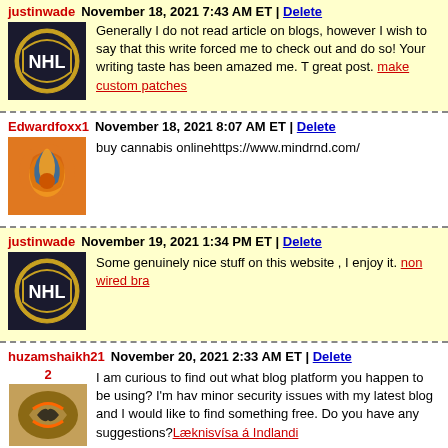justinwade | November 18, 2021 7:43 AM ET | Delete — Generally I do not read article on blogs, however I wish to say that this write forced me to check out and do so! Your writing taste has been amazed me. T great post. make custom patches
Edwardfoxx1 | November 18, 2021 8:07 AM ET | Delete — buy cannabis onlinehttps://www.mindrnd.com/
justinwade | November 19, 2021 1:34 PM ET | Delete — Some genuinely nice stuff on this website , I enjoy it. non wired bra
huzamshaikh21 | November 20, 2021 2:33 AM ET | Delete — I am curious to find out what blog platform you happen to be using? I'm hav minor security issues with my latest blog and I would like to find something free. Do you have any suggestions? Læknisvísa á Indlandi